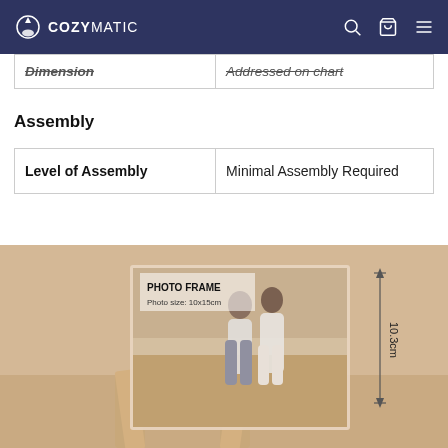COZYMATIC
| Dimension | Addressed on chart |
| --- | --- |
Assembly
| Level of Assembly | Minimal Assembly Required |
| --- | --- |
| Level of Assembly | Minimal Assembly Required |
[Figure (photo): Product photo of a photo frame with wooden stand, showing a couple on a beach. Text on frame reads PHOTO FRAME, Photo size: 10x15cm. A measurement arrow indicates 10.3cm height.]